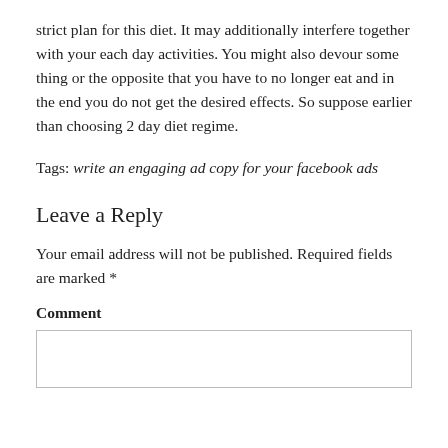strict plan for this diet. It may additionally interfere together with your each day activities. You might also devour some thing or the opposite that you have to no longer eat and in the end you do not get the desired effects. So suppose earlier than choosing 2 day diet regime.
Tags: write an engaging ad copy for your facebook ads
Leave a Reply
Your email address will not be published. Required fields are marked *
Comment